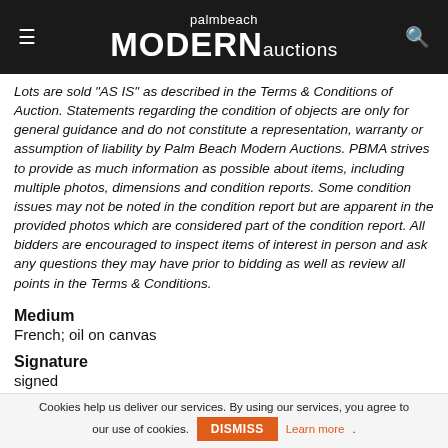palmbeach MODERN auctions
Lots are sold "AS IS" as described in the Terms & Conditions of Auction. Statements regarding the condition of objects are only for general guidance and do not constitute a representation, warranty or assumption of liability by Palm Beach Modern Auctions. PBMA strives to provide as much information as possible about items, including multiple photos, dimensions and condition reports. Some condition issues may not be noted in the condition report but are apparent in the provided photos which are considered part of the condition report. All bidders are encouraged to inspect items of interest in person and ask any questions they may have prior to bidding as well as review all points in the Terms & Conditions.
Medium
French; oil on canvas
Signature
signed
Provenance
Lot is accompanied by the following documents, described
Cookies help us deliver our services. By using our services, you agree to our use of cookies. DISMISS Learn more.